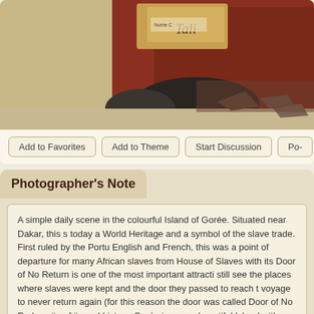[Figure (photo): A photograph showing a scene from the Island of Gorée near Dakar — stones and debris against a red/dark wall with sandy ground]
Add to Favorites | Add to Theme | Start Discussion | Po-
Photographer's Note
A simple daily scene in the colourful Island of Gorée. Situated near Dakar, this s today a World Heritage and a symbol of the slave trade. First ruled by the Portu English and French, this was a point of departure for many African slaves from House of Slaves with its Door of No Return is one of the most important attracti still see the places where slaves were kept and the door they passed to reach t voyage to never return again (for this reason the door was called Door of No Re In spite of its sad history, Gorée is a very beautiful Island with colourful houses, Besides the impressive places where slaves were kept, we can also see many r traders, churches...